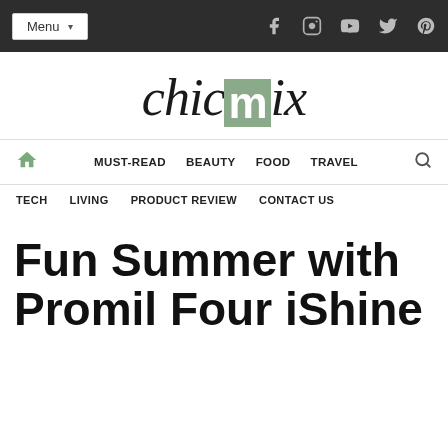Menu | Social icons: Facebook, Instagram, YouTube, Twitter, Pinterest
chicmix
Home | MUST-READ | BEAUTY | FOOD | TRAVEL | Search
TECH | LIVING | PRODUCT REVIEW | CONTACT US
Fun Summer with Promil Four iShine